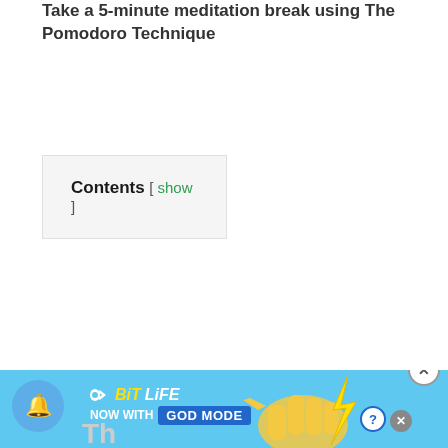Take a 5-minute meditation break using The Pomodoro Technique
Contents [ show ]
[Figure (screenshot): Advertisement banner for BitLife game: 'BitLife NOW WITH GOD MODE' with blue background, cartoon hand and lightning bolt graphic. Includes a notification bell button on left, help and close icons, and a dismiss circle button on right.]